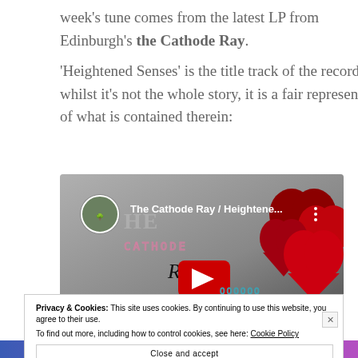week's tune comes from the latest LP from Edinburgh's the Cathode Ray.
'Heightened Senses' is the title track of the record and, whilst it's not the whole story, it is a fair representation of what is contained therein:
[Figure (screenshot): YouTube video thumbnail showing The Cathode Ray / Heightene... with red heart shapes and band logo visible, partially overlaid by a cookie consent banner and YouTube play button]
Privacy & Cookies: This site uses cookies. By continuing to use this website, you agree to their use.
To find out more, including how to control cookies, see here: Cookie Policy
Close and accept
everything you need.